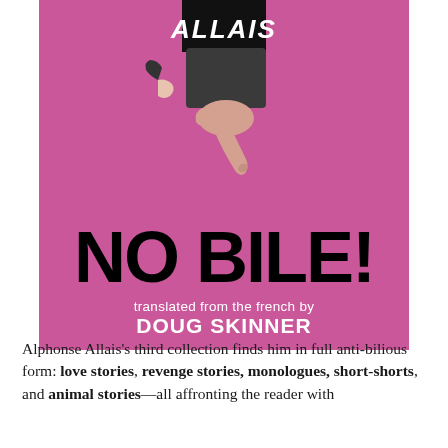[Figure (illustration): Book cover for 'No Bile!' by Alphonse Allais, translated from the French by Doug Skinner. Pink/magenta background with a hand pointing downward wearing a dark sleeve, and a black banner at the top with the author name 'ALLAIS' in white italic letters. Large bold black text reads 'NO BILE!' and below in white text 'translated from the french by DOUG SKINNER'.]
Alphonse Allais's third collection finds him in full anti-bilious form: love stories, revenge stories, monologues, short-shorts, and animal stories—all affronting the reader with